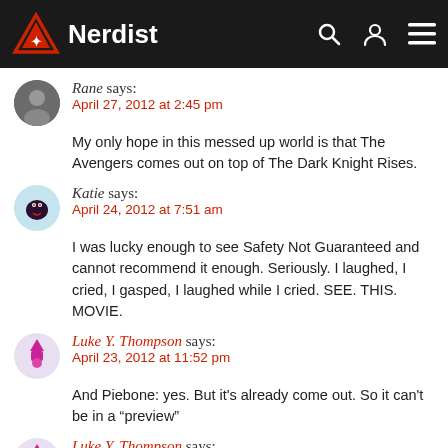Nerdist
Rane says:
April 27, 2012 at 2:45 pm

My only hope in this messed up world is that The Avengers comes out on top of The Dark Knight Rises.
Katie says:
April 24, 2012 at 7:51 am

I was lucky enough to see Safety Not Guaranteed and cannot recommend it enough. Seriously. I laughed, I cried, I gasped, I laughed while I cried. SEE. THIS. MOVIE.
Luke Y. Thompson says:
April 23, 2012 at 11:52 pm

And Piebone: yes. But it's already come out. So it can't be in a “preview”
Luke Y. Thompson says: